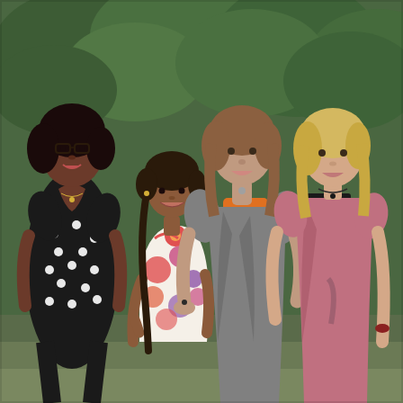[Figure (photo): Outdoor group photo of four people: a tall woman with glasses wearing a black polka-dot dress on the left, a young girl in a colorful floral dress in the front center-left, a woman in a gray wrap dress with an orange top in the center, and a woman with blonde hair wearing a pink wrap top on the right. Green leafy trees visible in the background.]